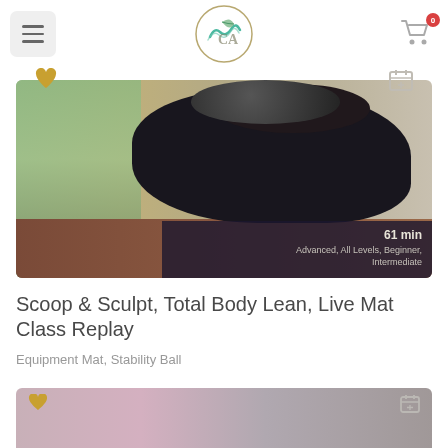Navigation header with hamburger menu, logo, and cart icon with badge 0
[Figure (photo): Person performing a Pilates/core exercise holding a stability ball overhead while lying on a mat, in a studio with plants and wooden floor. Overlay text shows '61 min' and 'Advanced, All Levels, Beginner, Intermediate']
Scoop & Sculpt, Total Body Lean, Live Mat Class Replay
Equipment Mat, Stability Ball
[Figure (photo): Partial view of a second workout class thumbnail at the bottom of the page]